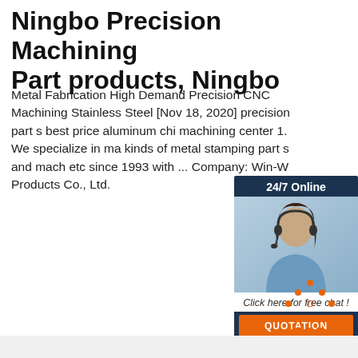Ningbo Precision Machining Part products, Ningbo
Metal Fabrication High Demand Precision CNC Machining Stainless Steel [Nov 18, 2020] precision part s best price aluminum chi machining center 1. We specialize in ma kinds of metal stamping part s and mach etc since 1993 with ... Company: Win-W Products Co., Ltd.
[Figure (photo): Customer service representative with headset, 24/7 Online chat widget with dark navy header, photo of smiling woman, 'Click here for free chat!' text, and orange QUOTATION button]
[Figure (infographic): Orange dotted triangle TOP icon with orange TOP text label]
Get Price